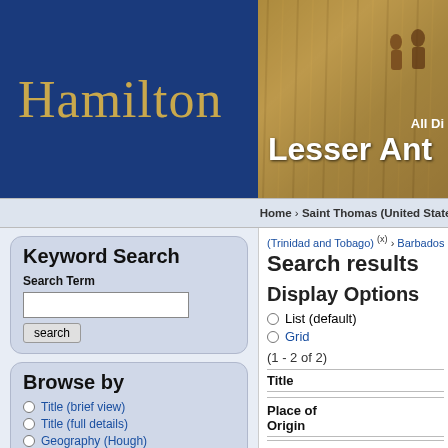[Figure (screenshot): Hamilton college library logo — white/gold 'Hamilton' text on dark blue background, left half of header]
[Figure (photo): Photo of field workers harvesting grain/sugarcane with text overlay 'All Di' and 'Lesser Ant' (Lesser Antilles) partially visible]
Home › Saint Thomas (United States ... (Trinidad and Tobago) (x) › Barbados
Search results
Keyword Search
Search Term
Browse by
Title (brief view)
Title (full details)
Geography (Hough)
Subject (Library of Congress)
Hough Series Heading
Display Options
List (default)
Grid
(1 - 2 of 2)
| Title | Place of Origin | Date | Series |
| --- | --- | --- | --- |